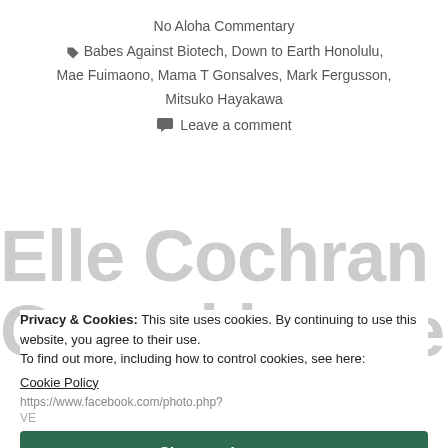No Aloha Commentary
Babes Against Biotech, Down to Earth Honolulu, Mae Fuimaono, Mama T Gonsalves, Mark Fergusson, Mitsuko Hayakawa
Leave a comment
Elle Cochran the Garcel houser of Maui
Privacy & Cookies: This site uses cookies. By continuing to use this website, you agree to their use. To find out more, including how to control cookies, see here: Cookie Policy
https://www.facebook.com/photo.php?
Close and accept
council member is starting up a inter-nan an an the outer island: Maui. Meet Elle Cochran, who has